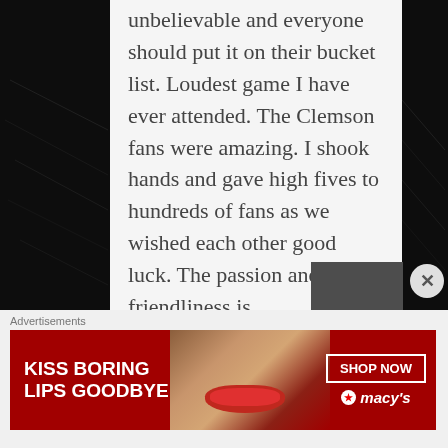[Figure (photo): Dark stadium background photo with grainy black and white texture, forming left and right columns beside a white content area]
unbelievable and everyone should put it on their bucket list. Loudest game I have ever attended. The Clemson fans were amazing. I shook hands and gave high fives to hundreds of fans as we wished each other good luck. The passion and friendliness is
[Figure (illustration): Advertisement banner: red background with white text 'KISS BORING LIPS GOODBYE', woman's face with red lips, SHOP NOW button, Macys logo with star]